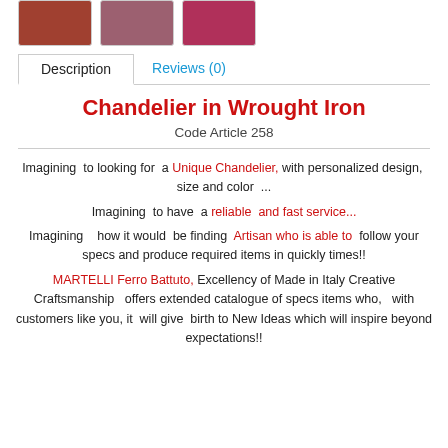[Figure (photo): Three product thumbnail images of chandeliers in wrought iron]
Description | Reviews (0)
Chandelier in Wrought Iron
Code Article 258
Imagining to looking for a Unique Chandelier, with personalized design, size and color ...
Imagining to have a reliable and fast service...
Imagining how it would be finding Artisan who is able to follow your specs and produce required items in quickly times!!
MARTELLI Ferro Battuto, Excellency of Made in Italy Creative Craftsmanship offers extended catalogue of specs items who, with customers like you, it will give birth to New Ideas which will inspire beyond expectations!!